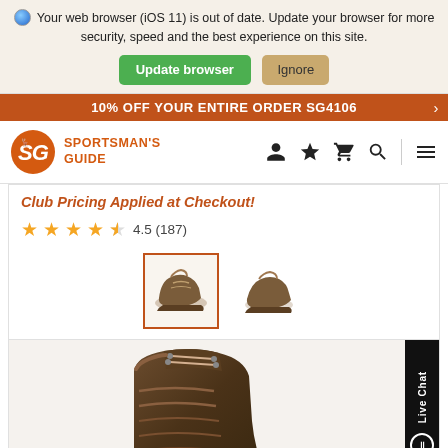🌐 Your web browser (iOS 11) is out of date. Update your browser for more security, speed and the best experience on this site.
Update browser | Ignore
10% OFF YOUR ENTIRE ORDER SG4106
[Figure (logo): Sportsman's Guide logo with orange SG circle emblem and text]
[Figure (screenshot): Navigation icons: user, star, cart, search, menu]
Club Pricing Applied at Checkout!
4.5 (187)
[Figure (photo): Two brown hiking boot thumbnails, first one selected with orange border]
[Figure (photo): Large close-up photo of a brown hiking boot showing laces and sole detail]